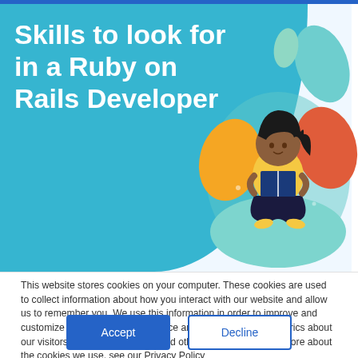Skills to look for in a Ruby on Rails Developer
[Figure (illustration): Illustration of a woman with dark hair sitting cross-legged reading a book, surrounded by colorful leaves and plants in teal, yellow, and red tones, on a teal circular background]
This website stores cookies on your computer. These cookies are used to collect information about how you interact with our website and allow us to remember you. We use this information in order to improve and customize your browsing experience and for analytics and metrics about our visitors both on this website and other media. To find out more about the cookies we use, see our Privacy Policy
If you decline, your information won't be tracked when you visit this website. A single cookie will be used in your browser to remember your preference not to be tracked.